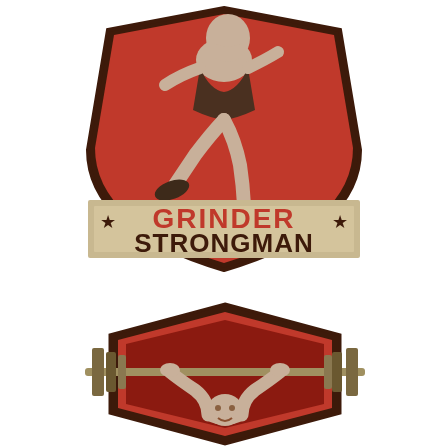[Figure (logo): Grinder Strongman logo: a shield with red background containing an athlete performing a squat/lunge motion, with a banner below reading GRINDER STRONGMAN with stars]
[Figure (illustration): A strongman athlete lifting a heavy barbell overhead, shown within a hexagonal shield frame with red and dark brown colors]